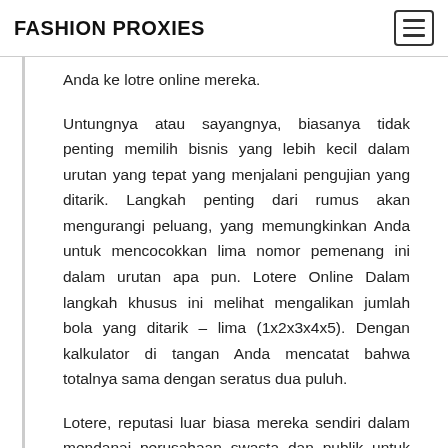FASHION PROXIES
Anda ke lotre online mereka.
Untungnya atau sayangnya, biasanya tidak penting memilih bisnis yang lebih kecil dalam urutan yang tepat yang menjalani pengujian yang ditarik. Langkah penting dari rumus akan mengurangi peluang, yang memungkinkan Anda untuk mencocokkan lima nomor pemenang ini dalam urutan apa pun. Lotere Online Dalam langkah khusus ini melihat mengalikan jumlah bola yang ditarik – lima (1x2x3x4x5). Dengan kalkulator di tangan Anda mencatat bahwa totalnya sama dengan seratus dua puluh.
Lotere, reputasi luar biasa mereka sendiri dalam mendanai perusahaan swasta dan publik untuk dapat